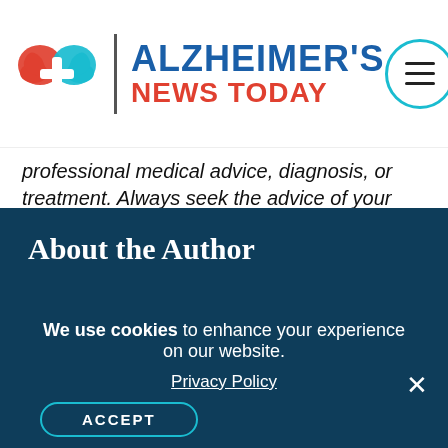[Figure (logo): Alzheimer's News Today logo with two brain silhouettes (red and teal) and text 'ALZHEIMER'S NEWS TODAY' in blue and red]
professional medical advice, diagnosis, or treatment. Always seek the advice of your physician or another qualified health provider with any questions you may have regarding a medical condition. Never disregard professional medical advice or delay in seeking it because of something you have read on this website.
Print This Page
About the Author
We use cookies to enhance your experience on our website. Privacy Policy ACCEPT